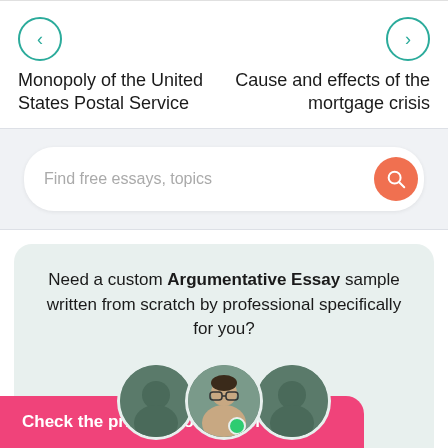< Monopoly of the United States Postal Service
> Cause and effects of the mortgage crisis
Find free essays, topics
Need a custom Argumentative Essay sample written from scratch by professional specifically for you?
rs online
Check the price of your paper